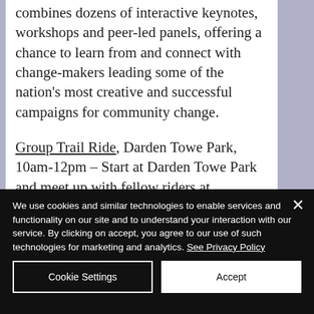combines dozens of interactive keynotes, workshops and peer-led panels, offering a chance to learn from and connect with change-makers leading some of the nation's most creative and successful campaigns for community change.
Group Trail Ride, Darden Towe Park, 10am-12pm – Start at Darden Towe Park and meet up with fellow riders at
We use cookies and similar technologies to enable services and functionality on our site and to understand your interaction with our service. By clicking on accept, you agree to our use of such technologies for marketing and analytics. See Privacy Policy
Cookie Settings
Accept